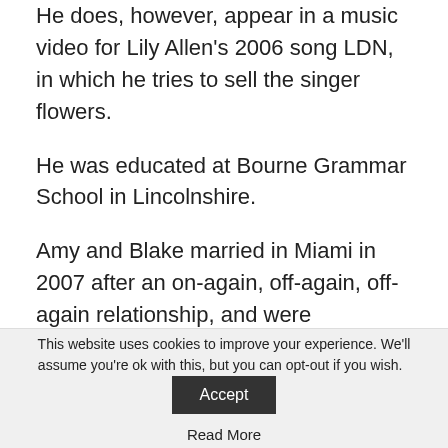He does, however, appear in a music video for Lily Allen's 2006 song LDN, in which he tries to sell the singer flowers.
He was educated at Bourne Grammar School in Lincolnshire.
Amy and Blake married in Miami in 2007 after an on-again, off-again, off-again relationship, and were photographed months later after a furious argument that revealed they had used heroin.
The following year, Blake was jailed for his part in
This website uses cookies to improve your experience. We'll assume you're ok with this, but you can opt-out if you wish. Accept Read More